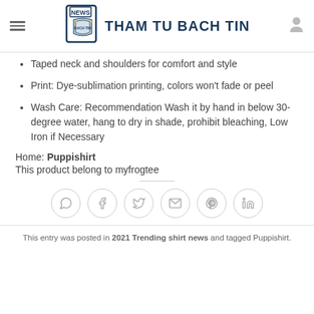NEWS THAM TU BACH TIN
Taped neck and shoulders for comfort and style
Print: Dye-sublimation printing, colors won't fade or peel
Wash Care: Recommendation Wash it by hand in below 30-degree water, hang to dry in shade, prohibit bleaching, Low Iron if Necessary
Home: Puppishirt
This product belong to myfrogtee
[Figure (other): Row of 6 social media share icons in circles: WhatsApp, Facebook, Twitter, Email, Pinterest, LinkedIn]
This entry was posted in 2021 Trending shirt news and tagged Puppishirt.